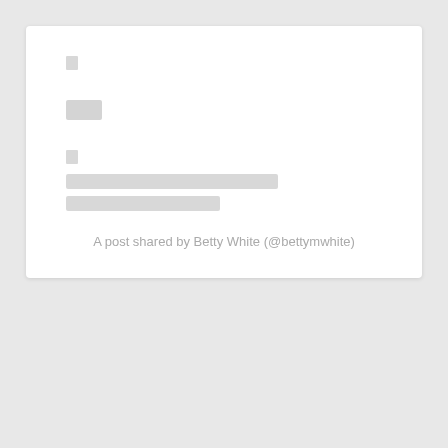[Figure (screenshot): A social media post embed placeholder card with loading skeleton elements including icon, avatar area, two skeleton text bars, and a credit line reading 'A post shared by Betty White (@bettymwhite)']
A post shared by Betty White (@bettymwhite)